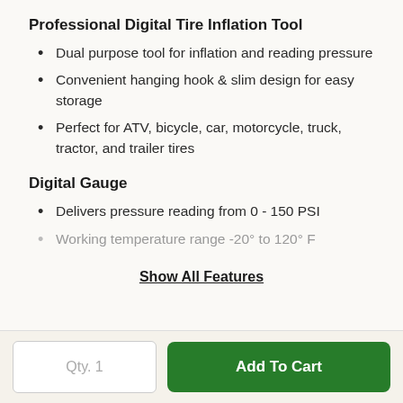Professional Digital Tire Inflation Tool
Dual purpose tool for inflation and reading pressure
Convenient hanging hook & slim design for easy storage
Perfect for ATV, bicycle, car, motorcycle, truck, tractor, and trailer tires
Digital Gauge
Delivers pressure reading from 0 - 150 PSI
Working temperature range -20° to 120° F
Show All Features